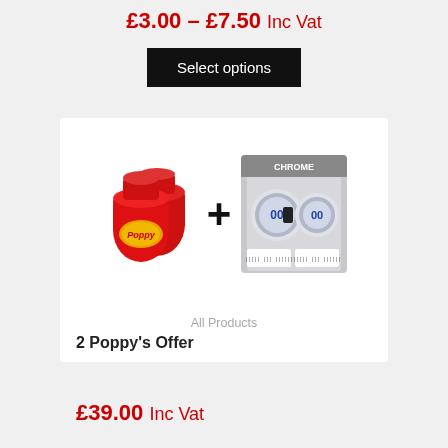£3.00 – £7.50 Inc Vat
Select options
[Figure (photo): Product bundle image showing two red Poppy air freshener bottles plus Chrome tire pressure gauge twin pack, connected by a large plus sign]
All Products
2 Poppy's Offer
£39.00 Inc Vat